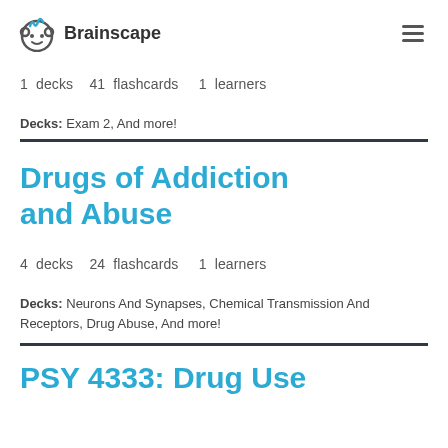Brainscape
1  decks    41  flashcards    1  learners
Decks: Exam 2, And more!
Drugs of Addiction and Abuse
4  decks    24  flashcards    1  learners
Decks: Neurons And Synapses, Chemical Transmission And Receptors, Drug Abuse, And more!
PSY 4333: Drug Use